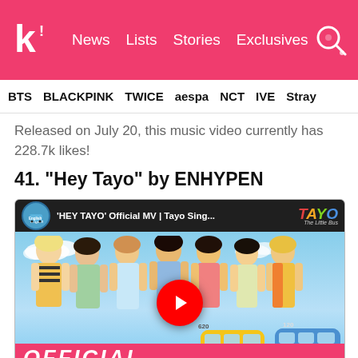Koreaboo | News | Lists | Stories | Exclusives
BTS  BLACKPINK  TWICE  aespa  NCT  IVE  Stray
Released on July 20, this music video currently has 228.7k likes!
41. “Hey Tayo” by ENHYPEN
[Figure (screenshot): YouTube video thumbnail for 'HEY TAYO' Official MV | Tayo Sing... featuring ENHYPEN members with animated Tayo the Little Bus characters. A red YouTube play button is visible in the center. Text at bottom reads OFFICIAL in pink/magenta.]